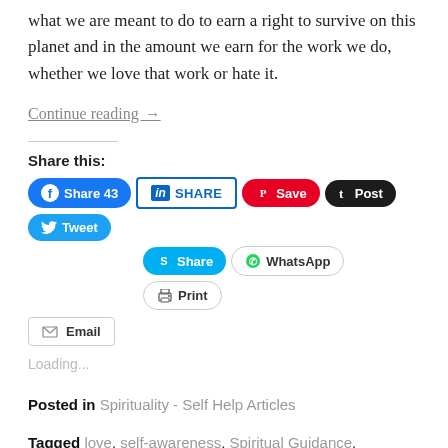what we are meant to do to earn a right to survive on this planet and in the amount we earn for the work we do, whether we love that work or hate it.
Continue reading →
Share this:
[Figure (other): Social sharing buttons: Facebook Share 43, LinkedIn SHARE, Pinterest Save, Tumblr Post, Twitter Tweet, Skype Share, WhatsApp, Print, Email]
Loading...
Posted in Spirituality - Self Help Articles
Tagged love, self-awareness, Spiritual Guidance, Success, worth